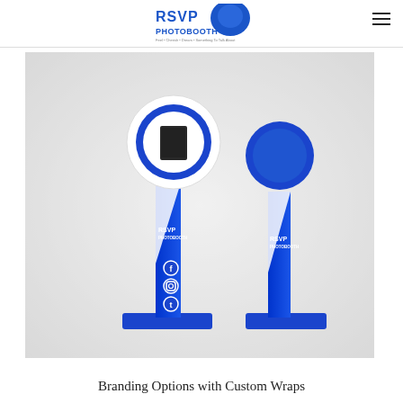RSVP PHOTOBOOTH
[Figure (photo): Two RSVP Photobooth kiosk units with custom blue and white wrap branding, showing front and side views. The front unit has a circular ring light with a camera/screen in the center, social media icons (Facebook, Instagram, Twitter) on the lower panel, and RSVP Photobooth logo. Both units have a diagonal blue and white design with the RSVP Photobooth logo printed on the body.]
Branding Options with Custom Wraps